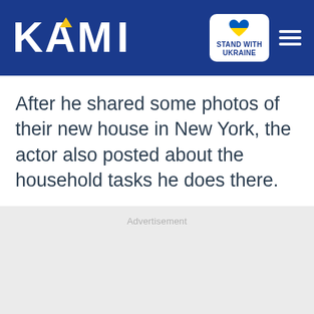KAMI — Stand with Ukraine
After he shared some photos of their new house in New York, the actor also posted about the household tasks he does there.
Advertisement